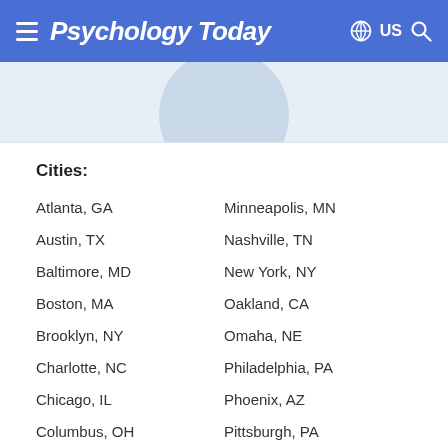Psychology Today — US
[Figure (photo): Partial circular avatar/profile photo placeholder in light blue-gray]
Cities:
Atlanta, GA
Minneapolis, MN
Austin, TX
Nashville, TN
Baltimore, MD
New York, NY
Boston, MA
Oakland, CA
Brooklyn, NY
Omaha, NE
Charlotte, NC
Philadelphia, PA
Chicago, IL
Phoenix, AZ
Columbus, OH
Pittsburgh, PA
Dallas, TX
Portland, OR
Denver, CO
Raleigh, NC
Detroit, MI
Sacramento, CA